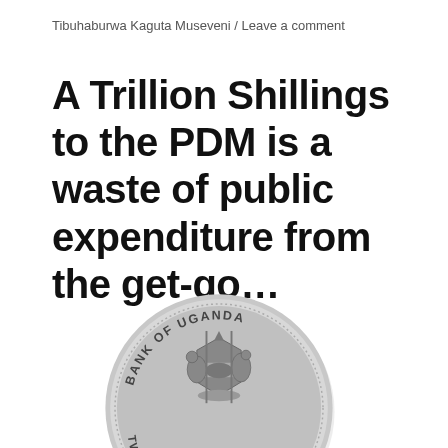Tibuhaburwa Kaguta Museveni / Leave a comment
A Trillion Shillings to the PDM is a waste of public expenditure from the get-go…
[Figure (photo): A silver Ugandan coin showing the Bank of Uganda coat of arms. The coin reads 'BANK OF UGANDA' along the top arc and 'TWO HUNDRED SHILLINGS' along the bottom arc.]